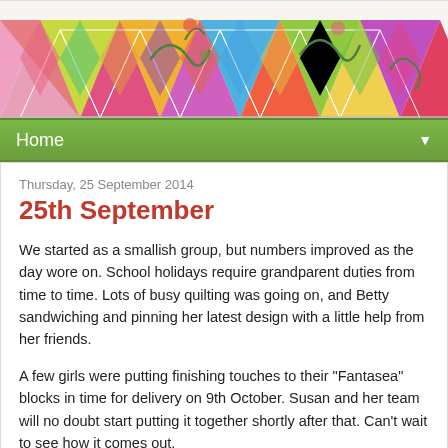[Figure (photo): Colorful patchwork quilt banner with diamond/triangle patterns in various fabrics and floral embroidery on white background]
Home ▼
Thursday, 25 September 2014
25th September
We started as a smallish group, but numbers improved as the day wore on. School holidays require grandparent duties from time to time. Lots of busy quilting was going on, and Betty sandwiching and pinning her latest design with a little help from her friends.
A few girls were putting finishing touches to their "Fantasea" blocks in time for delivery on 9th October. Susan and her team will no doubt start putting it together shortly after that. Can't wait to see how it comes out.